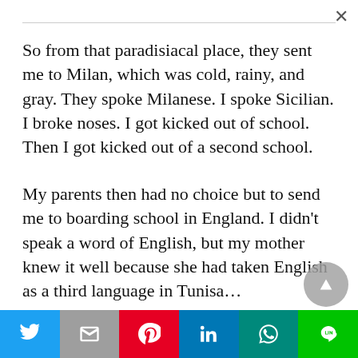So from that paradisiacal place, they sent me to Milan, which was cold, rainy, and gray. They spoke Milanese. I spoke Sicilian. I broke noses. I got kicked out of school. Then I got kicked out of a second school.
My parents then had no choice but to send me to boarding school in England. I didn’t speak a word of English, but my mother knew it well because she had taken English as a third language in Tunisia…